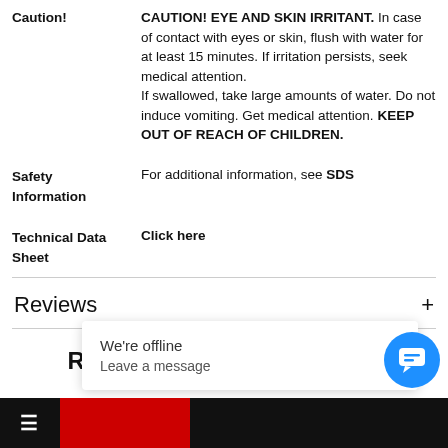Caution! | CAUTION! EYE AND SKIN IRRITANT. In case of contact with eyes or skin, flush with water for at least 15 minutes. If irritation persists, seek medical attention. If swallowed, take large amounts of water. Do not induce vomiting. Get medical attention. KEEP OUT OF REACH OF CHILDREN.
Safety Information | For additional information, see SDS
Technical Data Sheet | Click here
Reviews +
Related Products
We're offline
Leave a message